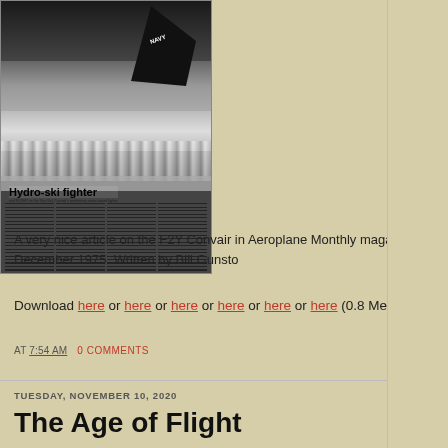[Figure (photo): Black and white magazine cover/spread showing 'Hydro-ski fighter' with a Navy aircraft tail fin visible above water spray, with multi-column article text below]
A very nice article on the F2Y Convair in Aeroplane Monthly magazine of December 1975. Written by Bill Gunsto
Download here or here or here or here or here or here (0.8 Meg)
AT 7:54 AM   0 COMMENTS
TUESDAY, NOVEMBER 10, 2020
The Age of Flight